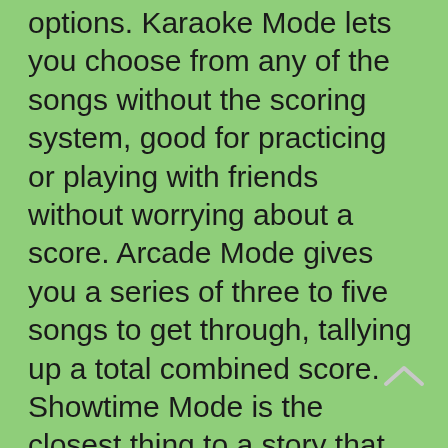options. Karaoke Mode lets you choose from any of the songs without the scoring system, good for practicing or playing with friends without worrying about a score. Arcade Mode gives you a series of three to five songs to get through, tallying up a total combined score. Showtime Mode is the closest thing to a story that the game has.
To expand the idea, two multiplayer modes bring your friends into the action. Arcade mode has the game score the singing ability as players take